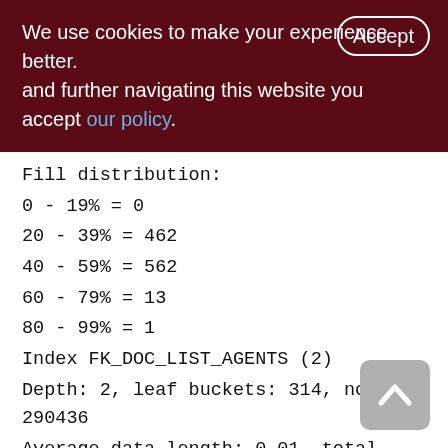We use cookies to make your experience better. By accepting and further navigating this website you accept our policy.
Fill distribution:
0 - 19% = 0
20 - 39% = 462
40 - 59% = 562
60 - 79% = 13
80 - 99% = 1
Index FK_DOC_LIST_AGENTS (2)
Depth: 2, leaf buckets: 314, nodes: 290436
Average data length: 0.01, total dup: 290386, max dup: 31277
Fill distribution: